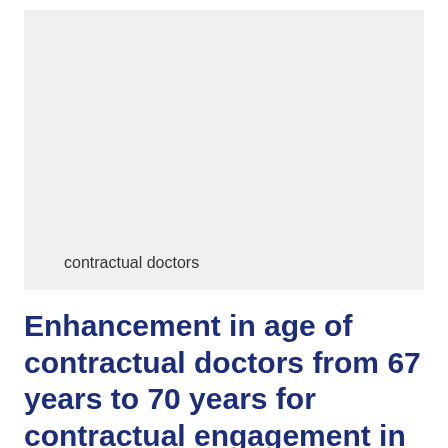[Figure (other): Light gray rectangular image placeholder with the text 'contractual doctors' near the bottom left]
Enhancement in age of contractual doctors from 67 years to 70 years for contractual engagement in CGHS Delhi